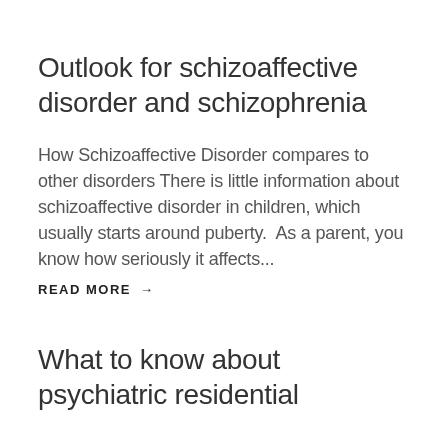Outlook for schizoaffective disorder and schizophrenia
How Schizoaffective Disorder compares to other disorders There is little information about schizoaffective disorder in children, which usually starts around puberty.  As a parent, you know how seriously it affects...
READ MORE →
What to know about psychiatric residential